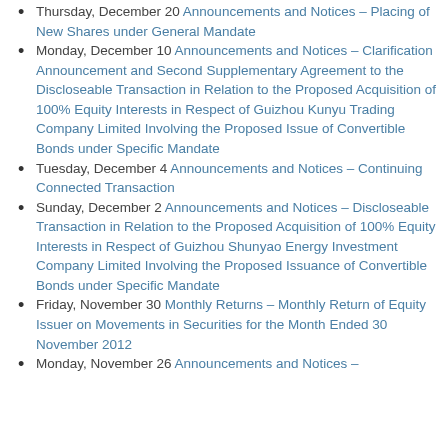Thursday, December 20 Announcements and Notices – Placing of New Shares under General Mandate
Monday, December 10 Announcements and Notices – Clarification Announcement and Second Supplementary Agreement to the Discloseable Transaction in Relation to the Proposed Acquisition of 100% Equity Interests in Respect of Guizhou Kunyu Trading Company Limited Involving the Proposed Issue of Convertible Bonds under Specific Mandate
Tuesday, December 4 Announcements and Notices – Continuing Connected Transaction
Sunday, December 2 Announcements and Notices – Discloseable Transaction in Relation to the Proposed Acquisition of 100% Equity Interests in Respect of Guizhou Shunyao Energy Investment Company Limited Involving the Proposed Issuance of Convertible Bonds under Specific Mandate
Friday, November 30 Monthly Returns – Monthly Return of Equity Issuer on Movements in Securities for the Month Ended 30 November 2012
Monday, November 26 Announcements and Notices –